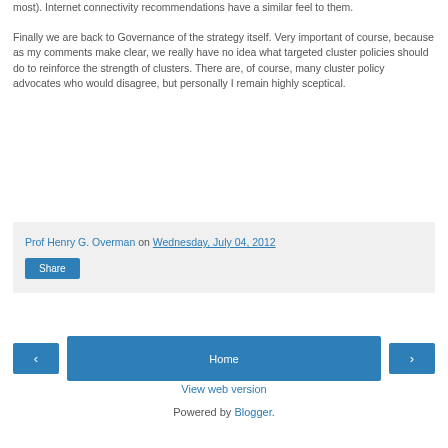most). Internet connectivity recommendations have a similar feel to them.
Finally we are back to Governance of the strategy itself. Very important of course, because as my comments make clear, we really have no idea what targeted cluster policies should do to reinforce the strength of clusters. There are, of course, many cluster policy advocates who would disagree, but personally I remain highly sceptical.
Prof Henry G. Overman on Wednesday, July 04, 2012
Share
Home
View web version
Powered by Blogger.